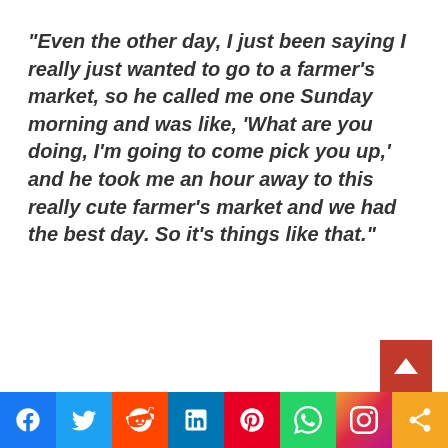“Even the other day, I just been saying I really just wanted to go to a farmer’s market, so he called me one Sunday morning and was like, ‘What are you doing, I’m going to come pick you up,’ and he took me an hour away to this really cute farmer’s market and we had the best day. So it’s things like that.”